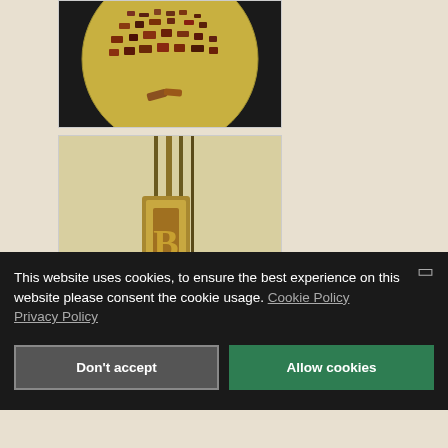[Figure (photo): Partial view of a golden sphere with miniature city/circuit components visible inside it, against a black background]
[Figure (photo): Vertical golden rods or antennae with a rectangular plaque/tag attached, neutral background]
This website uses cookies, to ensure the best experience on this website please consent the cookie usage. Cookie Policy
Privacy Policy
Don't accept
Allow cookies